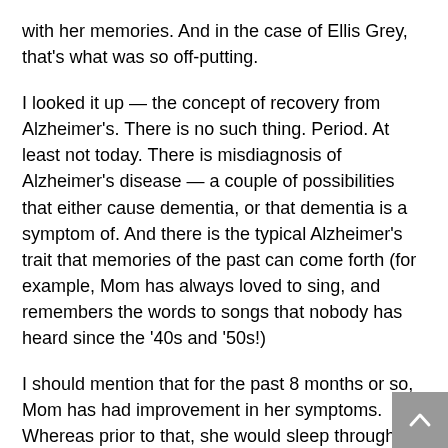with her memories. And in the case of Ellis Grey, that's what was so off-putting.
I looked it up — the concept of recovery from Alzheimer's. There is no such thing. Period. At least not today. There is misdiagnosis of Alzheimer's disease — a couple of possibilities that either cause dementia, or that dementia is a symptom of. And there is the typical Alzheimer's trait that memories of the past can come forth (for example, Mom has always loved to sing, and remembers the words to songs that nobody has heard since the '40s and '50s!)
I should mention that for the past 8 months or so, Mom has had improvement in her symptoms. Whereas prior to that, she would sleep through her days and her chin was always dropped to her chest, for these past several months she has actually been more vital, with a smile on her face and the ability to enjoy her environment. Even the doctor and nurse practitioner can't explain it. But — it's not the same as